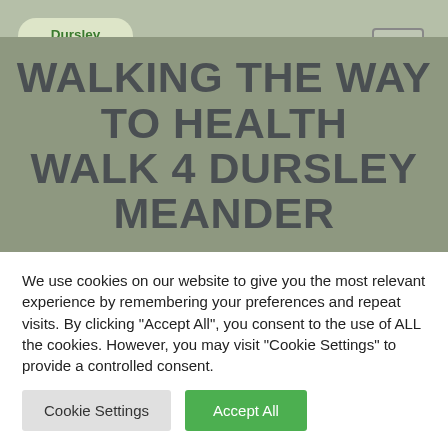[Figure (logo): Dursley Welcomes Walkers logo: rounded square with green text and two hiking boot illustrations]
WALKING THE WAY TO HEALTH WALK 4 DURSLEY MEANDER
We use cookies on our website to give you the most relevant experience by remembering your preferences and repeat visits. By clicking “Accept All”, you consent to the use of ALL the cookies. However, you may visit "Cookie Settings" to provide a controlled consent.
Cookie Settings
Accept All